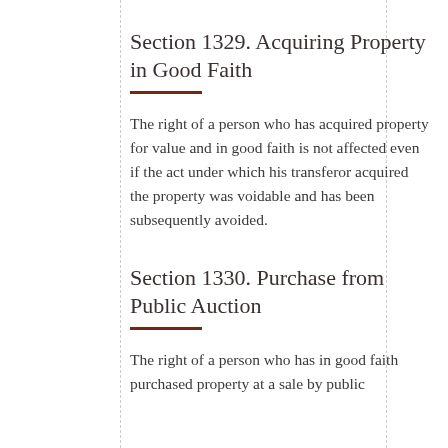Section 1329. Acquiring Property in Good Faith
The right of a person who has acquired property for value and in good faith is not affected even if the act under which his transferor acquired the property was voidable and has been subsequently avoided.
Section 1330. Purchase from Public Auction
The right of a person who has in good faith purchased property at a sale by public